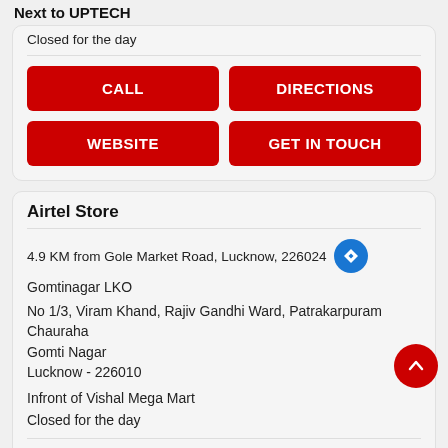Next to UPTECH
Closed for the day
[Figure (screenshot): CALL button (red)]
[Figure (screenshot): DIRECTIONS button (red)]
[Figure (screenshot): WEBSITE button (red)]
[Figure (screenshot): GET IN TOUCH button (red)]
Airtel Store
4.9 KM from Gole Market Road, Lucknow, 226024
Gomtinagar LKO
No 1/3, Viram Khand, Rajiv Gandhi Ward, Patrakarpuram Chauraha
Gomti Nagar
Lucknow - 226010
Infront of Vishal Mega Mart
Closed for the day